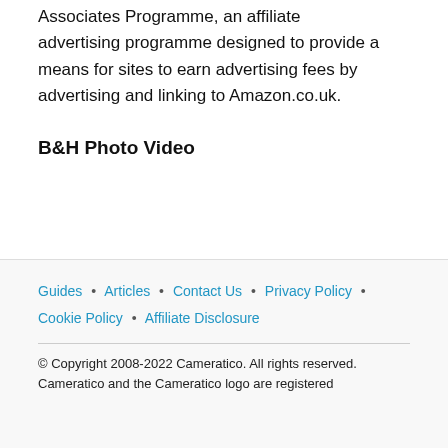Associates Programme, an affiliate advertising programme designed to provide a means for sites to earn advertising fees by advertising and linking to Amazon.co.uk.
B&H Photo Video
Guides • Articles • Contact Us • Privacy Policy • Cookie Policy • Affiliate Disclosure
© Copyright 2008-2022 Cameratico. All rights reserved. Cameratico and the Cameratico logo are registered